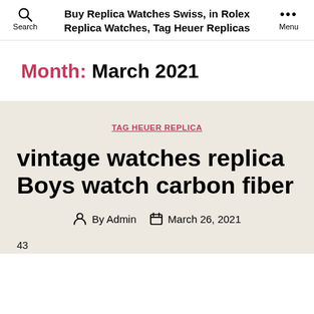Buy Replica Watches Swiss, in Rolex Replica Watches, Tag Heuer Replicas
Month: March 2021
TAG HEUER REPLICA
vintage watches replica Boys watch carbon fiber
By Admin   March 26, 2021
43...